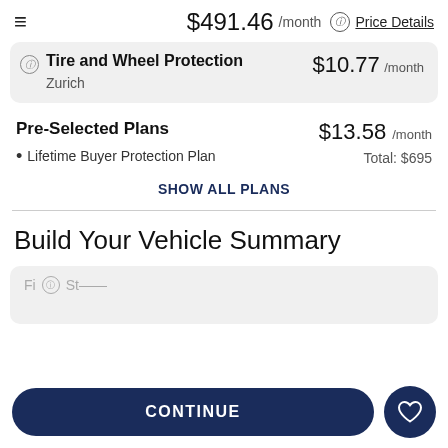$491.46 /month  Price Details
Tire and Wheel Protection  $10.77 /month
Zurich
Pre-Selected Plans
$13.58 /month
Total: $695
Lifetime Buyer Protection Plan
SHOW ALL PLANS
Build Your Vehicle Summary
CONTINUE